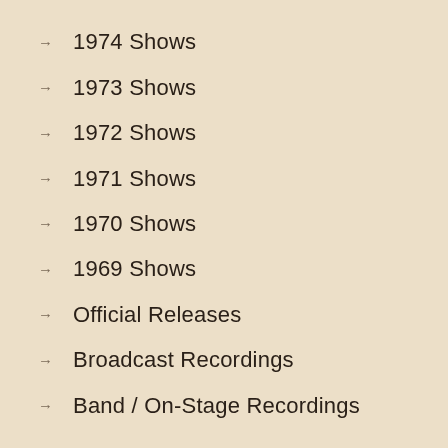1974 Shows
1973 Shows
1972 Shows
1971 Shows
1970 Shows
1969 Shows
Official Releases
Broadcast Recordings
Band / On-Stage Recordings